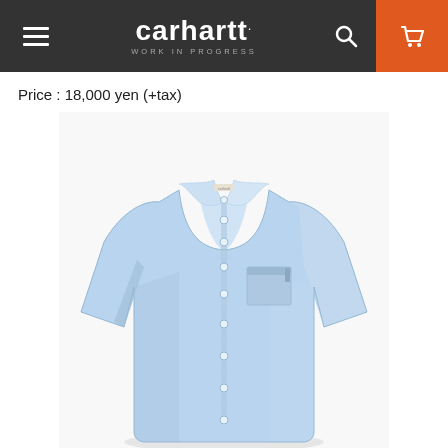carhartt WORK IN PROGRESS
Price : 18,000 yen (+tax)
[Figure (photo): Light blue Carhartt Work In Progress long-sleeve button-down Oxford shirt with chest pocket and small brand label, displayed flat on white background.]